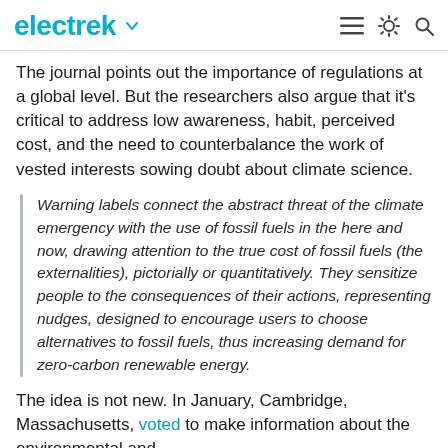electrek
The journal points out the importance of regulations at a global level. But the researchers also argue that it's critical to address low awareness, habit, perceived cost, and the need to counterbalance the work of vested interests sowing doubt about climate science.
Warning labels connect the abstract threat of the climate emergency with the use of fossil fuels in the here and now, drawing attention to the true cost of fossil fuels (the externalities), pictorially or quantitatively. They sensitize people to the consequences of their actions, representing nudges, designed to encourage users to choose alternatives to fossil fuels, thus increasing demand for zero-carbon renewable energy.
The idea is not new. In January, Cambridge, Massachusetts, voted to make information about the environmental and